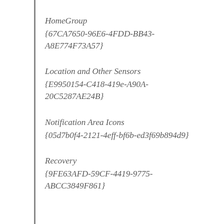HomeGroup
{67CA7650-96E6-4FDD-BB43-A8E774F73A57}
Location and Other Sensors
{E9950154-C418-419e-A90A-20C5287AE24B}
Notification Area Icons
{05d7b0f4-2121-4eff-bf6b-ed3f69b894d9}
Recovery
{9FE63AFD-59CF-4419-9775-ABCC3849F861}